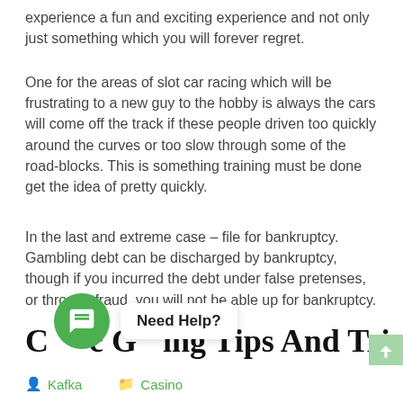experience a fun and exciting experience and not only just something which you will forever regret.
One for the areas of slot car racing which will be frustrating to a new guy to the hobby is always the cars will come off the track if these people driven too quickly around the curves or too slow through some of the road-blocks. This is something training must be done get the idea of pretty quickly.
In the last and extreme case – file for bankruptcy. Gambling debt can be discharged by bankruptcy, though if you incurred the debt under false pretenses, or through fraud, you will not be able up for bankruptcy.
Casinc Gambling Tips And Tricks
Kafka   Casino